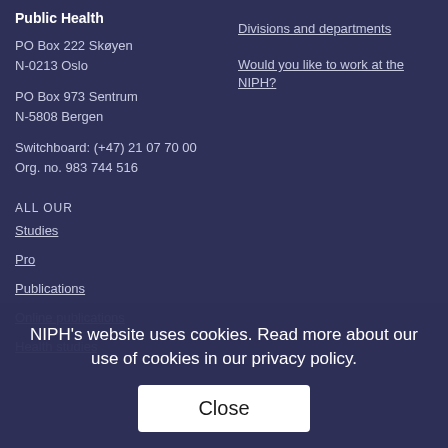Public Health
PO Box 222 Skøyen
N-0213 Oslo
PO Box 973 Sentrum
N-5808 Bergen
Switchboard: (+47) 21 07 70 00
Org. no. 983 744 516
Divisions and departments
Would you like to work at the NIPH?
ALL OUR
Studies
Pro
Publications
Online publications
Health studies
NIPH's website uses cookies. Read more about our use of cookies in our privacy policy.
Close